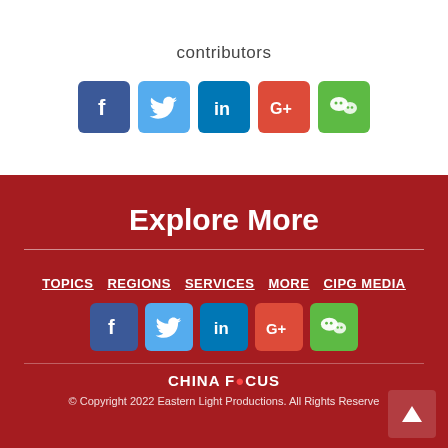contributors
[Figure (infographic): Social media share icons: Facebook, Twitter, LinkedIn, Google+, WeChat]
Explore More
TOPICS
REGIONS
SERVICES
MORE
CIPG MEDIA
[Figure (infographic): Social media icons: Facebook, Twitter, LinkedIn, Google+, WeChat]
[Figure (logo): CHINA FOCUS logo]
© Copyright 2022 Eastern Light Productions. All Rights Reserve